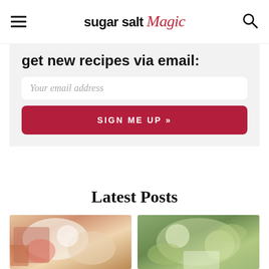sugar salt magic
get new recipes via email:
Your email address
SIGN ME UP »
Latest Posts
[Figure (photo): Food photo on left - appears to show a dessert or drink with red sauce]
[Figure (photo): Food photo on right - appears to show a green herb-topped dish]